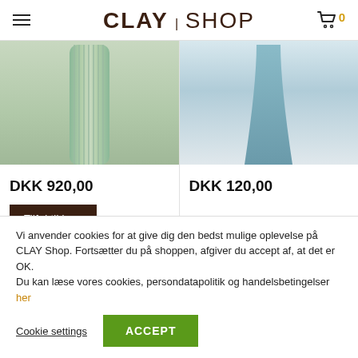CLAY | SHOP
[Figure (photo): Green ribbed ceramic vase, bottom portion visible]
[Figure (photo): Blue ceramic vase, bottom portion visible]
DKK 920,00
Tilføj til kurv
DKK 120,00
Vi anvender cookies for at give dig den bedst mulige oplevelse på CLAY Shop. Fortsætter du på shoppen, afgiver du accept af, at det er OK.
Du kan læse vores cookies, persondatapolitik og handelsbetingelser her
Cookie settings
ACCEPT